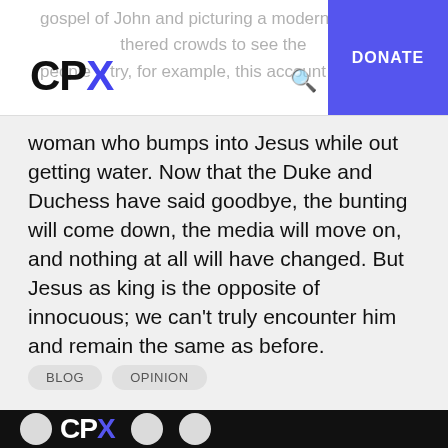CPX — DONATE
woman who bumps into Jesus while out getting water. Now that the Duke and Duchess have said goodbye, the bunting will come down, the media will move on, and nothing at all will have changed. But Jesus as king is the opposite of innocuous; we can't truly encounter him and remain the same as before.
BLOG
OPINION
CPX footer logo